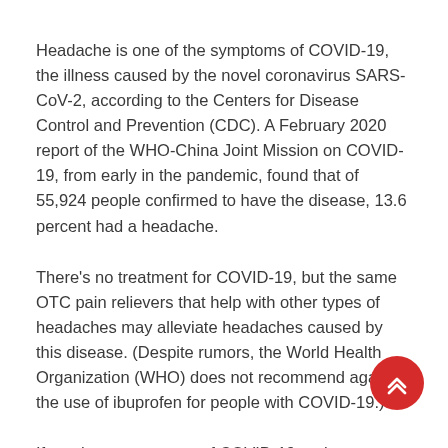Headache is one of the symptoms of COVID-19, the illness caused by the novel coronavirus SARS-CoV-2, according to the Centers for Disease Control and Prevention (CDC). A February 2020 report of the WHO-China Joint Mission on COVID-19, from early in the pandemic, found that of 55,924 people confirmed to have the disease, 13.6 percent had a headache.
There's no treatment for COVID-19, but the same OTC pain relievers that help with other types of headaches may alleviate headaches caused by this disease. (Despite rumors, the World Health Organization (WHO) does not recommend against the use of ibuprofen for people with COVID-19.)
If you have symptoms of COVID-19 and want to get tested,
[Figure (other): Red circular FAB button with double upward chevron arrows icon]